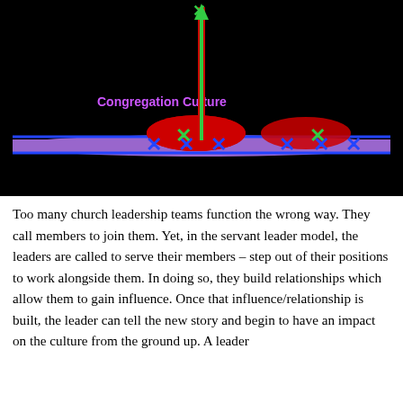[Figure (infographic): Dark background diagram showing Congregation Culture label in purple text. A horizontal blue/purple band runs across the middle. Red dome shapes and green X markers appear along the band. A vertical red arrow with green stripe rises from the center of the band upward, topped with a green X marker.]
Too many church leadership teams function the wrong way. They call members to join them. Yet, in the servant leader model, the leaders are called to serve their members – step out of their positions to work alongside them. In doing so, they build relationships which allow them to gain influence. Once that influence/relationship is built, the leader can tell the new story and begin to have an impact on the culture from the ground up. A leader